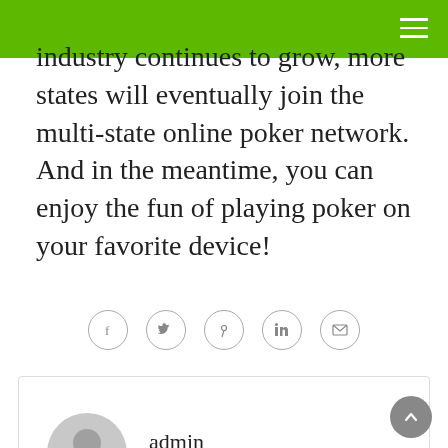industry continues to grow, more states will eventually join the multi-state online poker network. And in the meantime, you can enjoy the fun of playing poker on your favorite device!
[Figure (other): Social sharing icons: Facebook, Twitter, Pinterest, LinkedIn, Email — each in a grey circle outline]
[Figure (other): Author box with avatar silhouette and name 'admin']